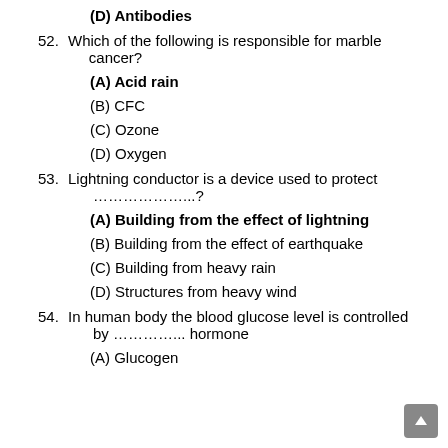(D) Antibodies
52. Which of the following is responsible for marble cancer?
(A) Acid rain
(B) CFC
(C) Ozone
(D) Oxygen
53. Lightning conductor is a device used to protect ………………...?
(A) Building from the effect of lightning
(B) Building from the effect of earthquake
(C) Building from heavy rain
(D) Structures from heavy wind
54. In human body the blood glucose level is controlled by ………… hormone
(A) Glucogen